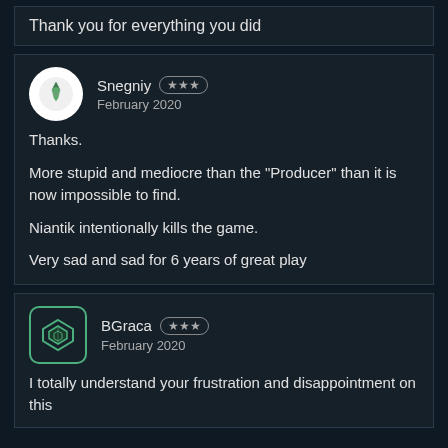Thank you for everything you did
Snegniy ★★★
February 2020
Thanks.

More stupid and mediocre than the "Producer" than it is now impossible to find.

Niantik intentionally kills the game.

Very sad and sad for 6 years of great play
BGraca ★★★
February 2020
I totally understand your frustration and disappointment on this